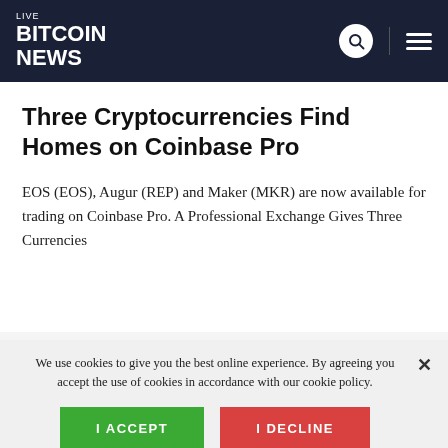LIVE BITCOIN NEWS
Three Cryptocurrencies Find Homes on Coinbase Pro
EOS (EOS), Augur (REP) and Maker (MKR) are now available for trading on Coinbase Pro. A Professional Exchange Gives Three Currencies
We use cookies to give you the best online experience. By agreeing you accept the use of cookies in accordance with our cookie policy.
I ACCEPT   I DECLINE
Privacy Center  Cookie Policy